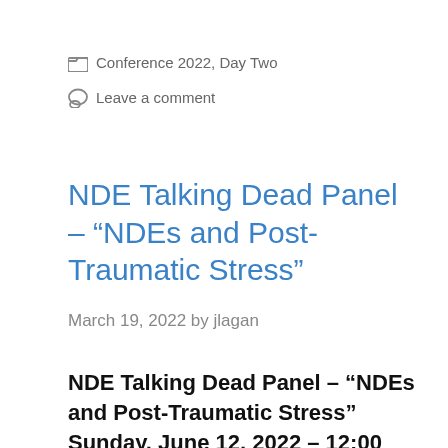📁 Conference 2022, Day Two
💬 Leave a comment
NDE Talking Dead Panel – “NDEs and Post-Traumatic Stress”
March 19, 2022 by jlagan
NDE Talking Dead Panel – “NDEs and Post-Traumatic Stress” Sunday, June 12, 2022 – 12:00 Noon PDT Raymond O’Brien – UK The Medical and Spiritual